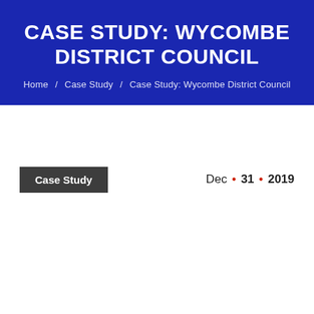CASE STUDY: WYCOMBE DISTRICT COUNCIL
Home / Case Study / Case Study: Wycombe District Council
Case Study
Dec • 31 • 2019